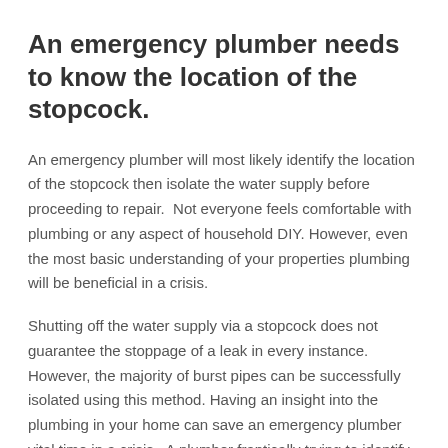An emergency plumber needs to know the location of the stopcock.
An emergency plumber will most likely identify the location of the stopcock then isolate the water supply before proceeding to repair.  Not everyone feels comfortable with plumbing or any aspect of household DIY. However, even the most basic understanding of your properties plumbing will be beneficial in a crisis.
Shutting off the water supply via a stopcock does not guarantee the stoppage of a leak in every instance. However, the majority of burst pipes can be successfully isolated using this method. Having an insight into the plumbing in your home can save an emergency plumber vital time in a crisis.  A plumber frantically trying to identify the location of a stopcock